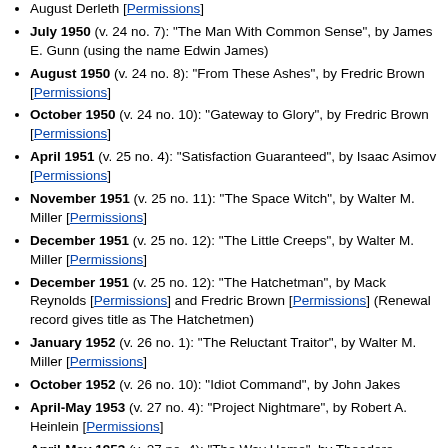July 1950 (v. 24 no. 7): "The Man With Common Sense", by James E. Gunn (using the name Edwin James)
August 1950 (v. 24 no. 8): "From These Ashes", by Fredric Brown [Permissions]
October 1950 (v. 24 no. 10): "Gateway to Glory", by Fredric Brown [Permissions]
April 1951 (v. 25 no. 4): "Satisfaction Guaranteed", by Isaac Asimov [Permissions]
November 1951 (v. 25 no. 11): "The Space Witch", by Walter M. Miller [Permissions]
December 1951 (v. 25 no. 12): "The Little Creeps", by Walter M. Miller [Permissions]
December 1951 (v. 25 no. 12): "The Hatchetman", by Mack Reynolds [Permissions] and Fredric Brown [Permissions] (Renewal record gives title as The Hatchetmen)
January 1952 (v. 26 no. 1): "The Reluctant Traitor", by Walter M. Miller [Permissions]
October 1952 (v. 26 no. 10): "Idiot Command", by John Jakes
April-May 1953 (v. 27 no. 4): "Project Nightmare", by Robert A. Heinlein [Permissions]
April-May 1953 (v. 27 no. 4): "The Way Home", by Theodore Sturgeon [Permissions] (Renewal record gives title as A Way Home)
April-May 1953 (v. 27 no. 4): "The Last Day", by Richard...